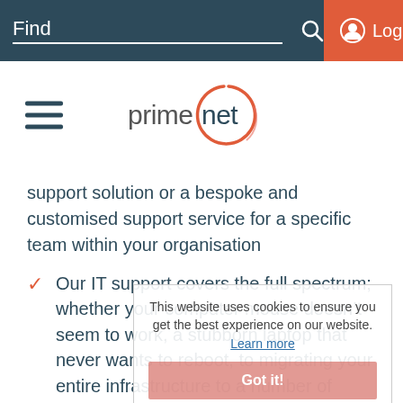Find  [search icon]  Login
[Figure (logo): Primenet logo — text 'primenet' with a red/coral circular swoosh graphic]
support solution or a bespoke and customised support service for a specific team within your organisation
Our IT support covers the full spectrum; whether your computer mouse doesn't seem to work, a stubborn laptop that never wants to reboot, to migrating your entire infrastructure to a number of cloud-based infrastructures and applications
This website uses cookies to ensure you get the best experience on our website. Learn more  Got it!
We work with a team of experts, specialising in industry-leading, cutting-edge cyber threat detection and mitigation to ensure we